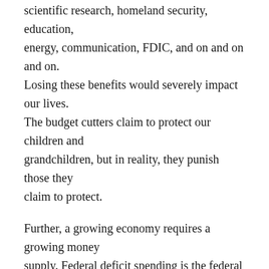scientific research, homeland security, education, energy, communication, FDIC, and on and on and on. Losing these benefits would severely impact our lives. The budget cutters claim to protect our children and grandchildren, but in reality, they punish those they claim to protect.
Further, a growing economy requires a growing money supply. Federal deficit spending is the federal government's method for adding the money to grow the economy. All depressions and most recessions have come as a result of reduced growth in federal deficit spending.
In short, there is zero value or purpose to cutting the federal budget and thousands of reasons not to.